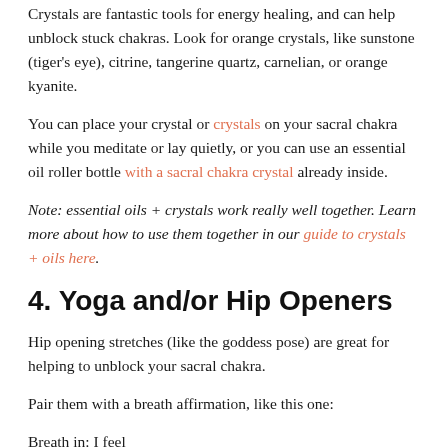Crystals are fantastic tools for energy healing, and can help unblock stuck chakras. Look for orange crystals, like sunstone (tiger's eye), citrine, tangerine quartz, carnelian, or orange kyanite.
You can place your crystal or crystals on your sacral chakra while you meditate or lay quietly, or you can use an essential oil roller bottle with a sacral chakra crystal already inside.
Note: essential oils + crystals work really well together. Learn more about how to use them together in our guide to crystals + oils here.
4. Yoga and/or Hip Openers
Hip opening stretches (like the goddess pose) are great for helping to unblock your sacral chakra.
Pair them with a breath affirmation, like this one:
Breath in: I feel
Breath out: ...